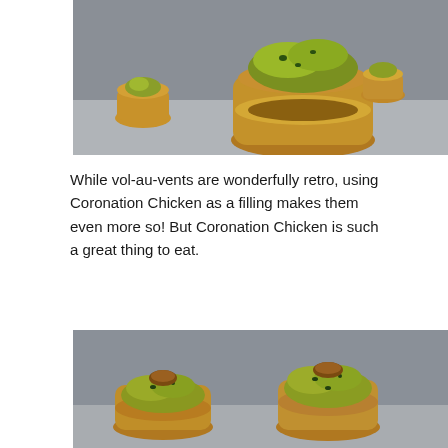[Figure (photo): Close-up photo of vol-au-vents (puff pastry cases) filled with Coronation Chicken (yellow-green curry filling with herbs), placed on a grey surface. One large vol-au-vent in the foreground and smaller ones in the background.]
While vol-au-vents are wonderfully retro, using Coronation Chicken as a filling makes them even more so! But Coronation Chicken is such a great thing to eat.
[Figure (photo): Close-up photo of smaller vol-au-vents filled with Coronation Chicken filling (yellow-green curry mixture with herbs), arranged on a grey surface, viewed from a lower angle.]